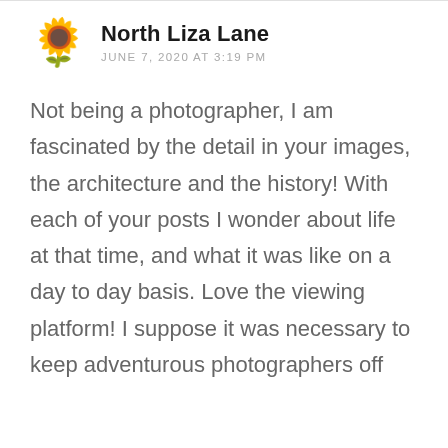North Liza Lane
JUNE 7, 2020 AT 3:19 PM
Not being a photographer, I am fascinated by the detail in your images, the architecture and the history! With each of your posts I wonder about life at that time, and what it was like on a day to day basis. Love the viewing platform! I suppose it was necessary to keep adventurous photographers off the… 😀😊